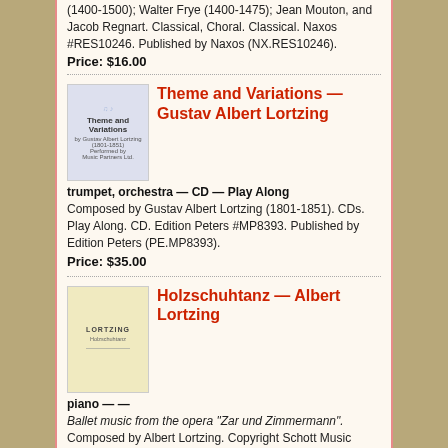(1400-1500); Walter Frye (1400-1475); Jean Mouton, and Jacob Regnart. Classical, Choral. Classical. Naxos #RES10246. Published by Naxos (NX.RES10246).
Price: $16.00
Theme and Variations — Gustav Albert Lortzing
trumpet, orchestra — CD — Play Along
Composed by Gustav Albert Lortzing (1801-1851). CDs. Play Along. CD. Edition Peters #MP8393. Published by Edition Peters (PE.MP8393).
Price: $35.00
Holzschuhtanz — Albert Lortzing
piano — —
Ballet music from the opera "Zar und Zimmermann". Composed by Albert Lortzing. Copyright Schott Music GmbH & Co. KG, Mainz. Published by Schott Music (S9.Q4066).
Price: $3.00
Find scores for Choirs Lortzing at Sheet Music Plus.